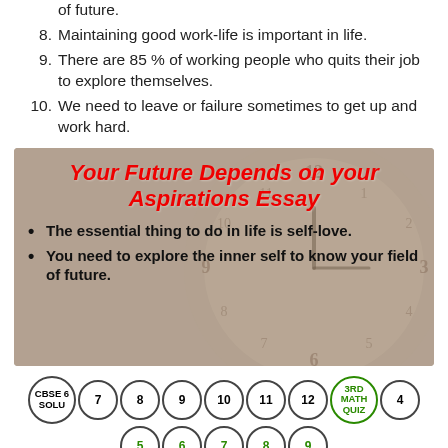of future.
8. Maintaining good work-life is important in life.
9. There are 85 % of working people who quits their job to explore themselves.
10. We need to leave or failure sometimes to get up and work hard.
[Figure (infographic): Infographic with clock background. Title: 'Your Future Depends on your Aspirations Essay' in bold red italic. Two bullet points in bold black: 'The essential thing to do in life is self-love.' and 'You need to explore the inner self to know your field of future.']
CBSE 6 SOLU | 7 | 8 | 9 | 10 | 11 | 12 | 3RD MATH QUIZ | 4 | 5 | 6 | 7 | 8 | 9